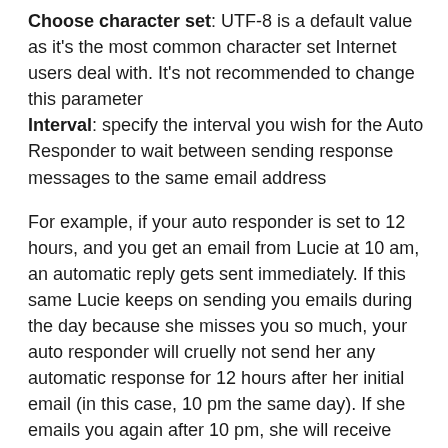Choose character set: UTF-8 is a default value as it's the most common character set Internet users deal with. It's not recommended to change this parameter
Interval: specify the interval you wish for the Auto Responder to wait between sending response messages to the same email address
For example, if your auto responder is set to 12 hours, and you get an email from Lucie at 10 am, an automatic reply gets sent immediately. If this same Lucie keeps on sending you emails during the day because she misses you so much, your auto responder will cruelly not send her any automatic response for 12 hours after her initial email (in this case, 10 pm the same day). If she emails you again after 10 pm, she will receive another merciful response.
Note, that if the interval is set to 0, cPanel sends an auto response to each email.